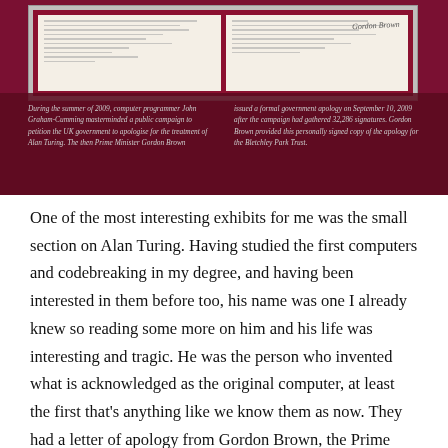[Figure (photo): Photo of a framed government apology document displayed against a dark crimson/red exhibition wall, with a two-column caption below describing the Alan Turing public campaign by John Graham-Cumming and Gordon Brown's signed apology for the Bletchley Park Trust.]
During the summer of 2009, computer programmer John Graham-Cumming masterminded a public campaign to petition the UK government to apologise for the treatment of Alan Turing. The then Prime Minister Gordon Brown issued a formal government apology on September 10, 2009 after the campaign had gathered 32,286 signatures. Gordon Brown provided this personally signed copy of the apology for the Bletchley Park Trust.
One of the most interesting exhibits for me was the small section on Alan Turing. Having studied the first computers and codebreaking in my degree, and having been interested in them before too, his name was one I already knew so reading some more on him and his life was interesting and tragic. He was the person who invented what is acknowledged as the original computer, at least the first that's anything like we know them as now. They had a letter of apology from Gordon Brown, the Prime Minister in 2010, for how he was treated at the time. It's one of those things that makes you realise how much life has changed and now he wouldn't have had to have the hormone treatments because he was gay, he'd be able to live a normal life and